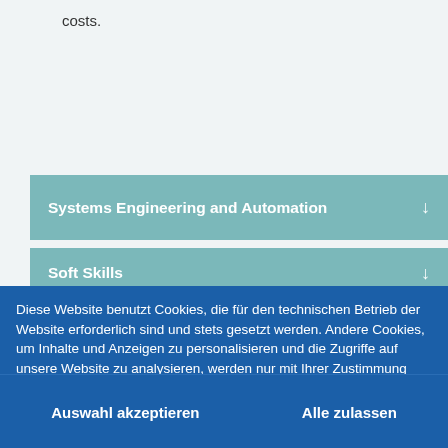costs.
Systems Engineering and Automation
Soft Skills
Diese Website benutzt Cookies, die für den technischen Betrieb der Website erforderlich sind und stets gesetzt werden. Andere Cookies, um Inhalte und Anzeigen zu personalisieren und die Zugriffe auf unsere Website zu analysieren, werden nur mit Ihrer Zustimmung gesetzt. Außerdem geben wir Informationen zu Ihrer Verwendung unserer Website an unsere Partner für soziale Medien, Werbung und Analysen weiter. Mehr Infos
✓ Notwendig  ☐ Externe Inhalte  ☐ Statistiken  ☐ Marketing
Auswahl akzeptieren
Alle zulassen